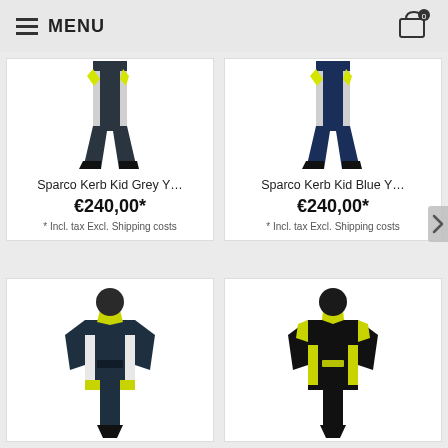MENU
[Figure (photo): Sparco Kerb Kid Grey racing suit (lower half/pants view, dark grey with yellow and white accents)]
Sparco Kerb Kid Grey Y…
€240,00*
* Incl. tax Excl. Shipping costs
[Figure (photo): Sparco Kerb Kid Blue racing suit (lower half/pants view, navy blue with yellow and white accents)]
Sparco Kerb Kid Blue Y…
€240,00*
* Incl. tax Excl. Shipping costs
[Figure (photo): Sparco racing suit, dark grey/teal with yellow and white accents, full suit front view]
[Figure (photo): Sparco racing suit, black with yellow accents, full suit front view]